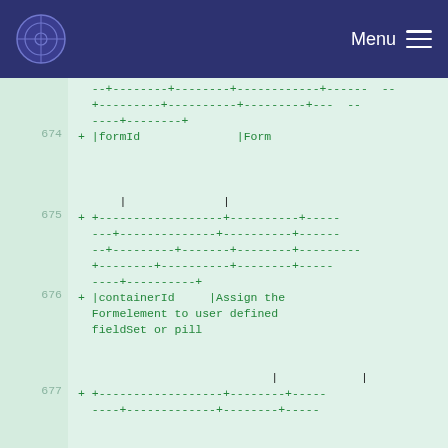Menu
674 + |formId                |Form


          |              |
675 + +------------------+----------+----
----+-------------+----------+----
--+---------+------+-------+---------+----
-----+--------+----------+--------+----
----+---------+
676 + |containerId      |Assign the Formelement to user defined fieldSet or pill


                              |            |
677 + +------------------+--------+----
----+-------------+--------+----